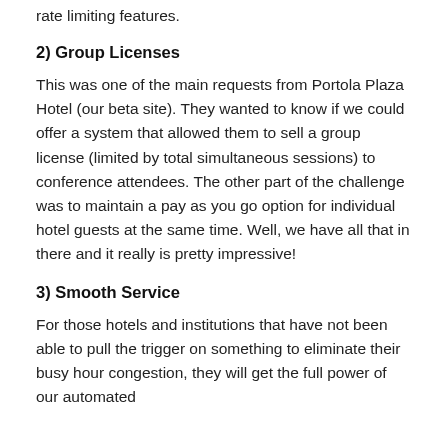rate limiting features.
2) Group Licenses
This was one of the main requests from Portola Plaza Hotel (our beta site). They wanted to know if we could offer a system that allowed them to sell a group license (limited by total simultaneous sessions) to conference attendees. The other part of the challenge was to maintain a pay as you go option for individual hotel guests at the same time. Well, we have all that in there and it really is pretty impressive!
3) Smooth Service
For those hotels and institutions that have not been able to pull the trigger on something to eliminate their busy hour congestion, they will get the full power of our automated